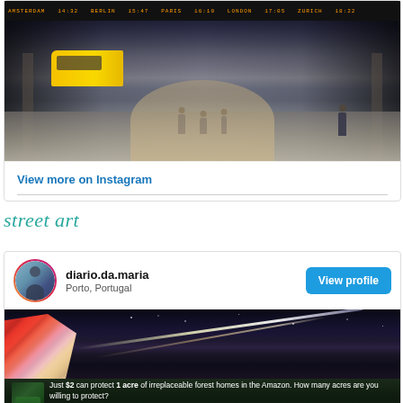[Figure (photo): Interior of a large train station with yellow train on left, departure board at top, several people walking on reflective tiled floor, arched pillars on sides, perspective leading to bright exit]
View more on Instagram
street art
[Figure (photo): Instagram profile card for diario.da.maria from Porto, Portugal with View profile button, and a nighttime street art photo showing colorful mosaic mural on left and light streaks across a dark sky]
[Figure (infographic): Advertisement banner: Just $2 can protect 1 acre of irreplaceable forest homes in the Amazon. How many acres are you willing to protect? PROTECT FORESTS NOW]